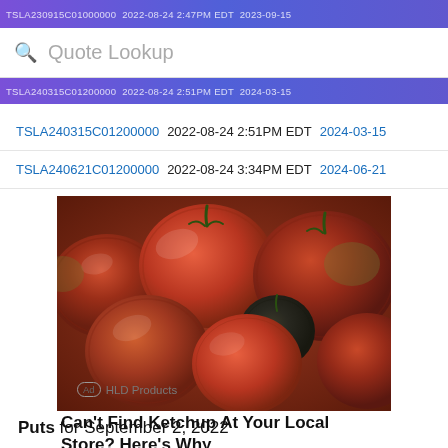TSLA230915C01000000 2022-08-24 2:47PM EDT 2023-09-15
Quote Lookup
TSLA240315C01200000  2022-08-24 2:51PM EDT  2024-03-15
TSLA240621C01200000  2022-08-24 3:34PM EDT  2024-06-21
[Figure (photo): Close-up photo of various heirloom tomatoes, red and dark varieties piled together]
Can't Find Ketchup At Your Local Store? Here's Why
Ad  HLD Products
Puts for September 2, 2022